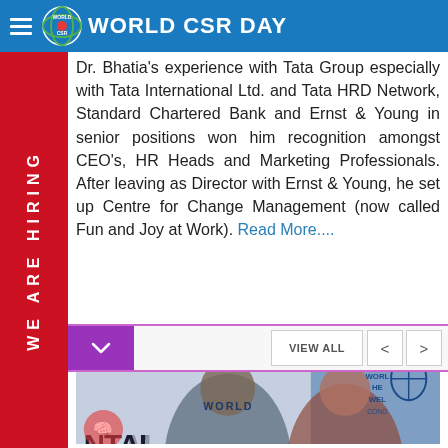WORLD CSR DAY
Dr. Bhatia's experience with Tata Group especially with Tata International Ltd. and Tata HRD Network, Standard Chartered Bank and Ernst & Young in senior positions won him recognition amongst CEO's, HR Heads and Marketing Professionals. After leaving as Director with Ernst & Young, he set up Centre for Change Management (now called Fun and Joy at Work). Read More....
[Figure (photo): Photo of two people at a World Mental Health / World Health & Wellness Congress event. Text reads 'Presents', 'WORLD MENTAL' partially visible, with logos.]